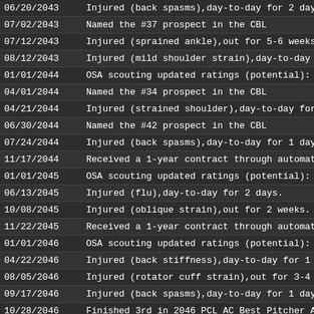| Date | Event |
| --- | --- |
| 06/20/2043 | Injured (back spasms),day-to-day for 2 days. |
| 07/02/2043 | Named the #37 prospect in the CBL |
| 07/12/2043 | Injured (sprained ankle),out for 5-6 weeks. |
| 08/12/2043 | Injured (mild shoulder strain),day-to-day for 4 days. |
| 01/01/2044 | OSA scouting updated ratings (potential): Stuff: 72 (78); Mo |
| 04/01/2044 | Named the #34 prospect in the CBL |
| 04/21/2044 | Injured (strained shoulder),day-to-day for 3 weeks. |
| 06/30/2044 | Named the #42 prospect in the CBL |
| 07/24/2044 | Injured (back spasms),day-to-day for 1 day. |
| 11/17/2044 | Received a 1-year contract through automatic renewal wo |
| 01/01/2045 | OSA scouting updated ratings (potential): Stuff: 93 (93); Mo |
| 06/13/2045 | Injured (flu),day-to-day for 2 days. |
| 10/08/2045 | Injured (oblique strain),out for 2 weeks. |
| 11/22/2045 | Received a 1-year contract through automatic renewal wo |
| 01/01/2046 | OSA scouting updated ratings (potential): Stuff: 80 (80); Mo |
| 04/22/2046 | Injured (back stiffness),day-to-day for 1 day. |
| 08/05/2046 | Injured (rotator cuff strain),out for 3-4 weeks. |
| 09/17/2046 | Injured (back spasms),day-to-day for 1 day. |
| 10/28/2046 | Finished 3rd in 2046 PCL AC Best Pitcher Award voting. |
| 11/26/2046 | Received a 1-year contract through automatic renewal wo |
| 01/01/2047 | OSA scouting updated ratings (potential): Stuff: 91 (91); Mo |